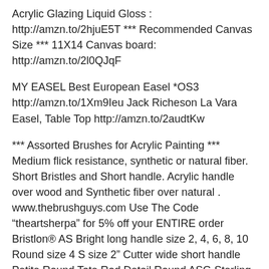Acrylic Glazing Liquid Gloss : http://amzn.to/2hjuE5T *** Recommended Canvas Size *** 11X14 Canvas board: http://amzn.to/2l0QJqF
MY EASEL Best European Easel *OS3 http://amzn.to/1Xm9Ieu Jack Richeson La Vara Easel, Table Top http://amzn.to/2audtKw
*** Assorted Brushes for Acrylic Painting *** Medium flick resistance, synthetic or natural fiber. Short Bristles and Short handle. Acrylic handle over wood and Synthetic fiber over natural . www.thebrushguys.com Use The Code "theartsherpa" for 5% off your ENTIRE order Bristlon® AS Bright long handle size 2, 4, 6, 8, 10 Round size 4 S size 2" Cutter wide short handle Petite Round Tote Rod Detail Round ASG Sterling